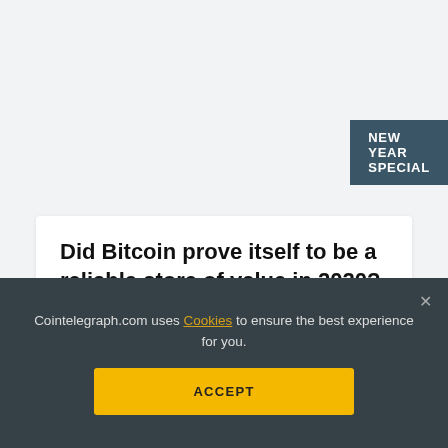NEW YEAR SPECIAL
Did Bitcoin prove itself to be a reliable store of value in 2020? Experts answer
by Max Yakubowski   DEC 31, 2020
Back to top
Cointelegraph.com uses Cookies to ensure the best experience for you.
ACCEPT